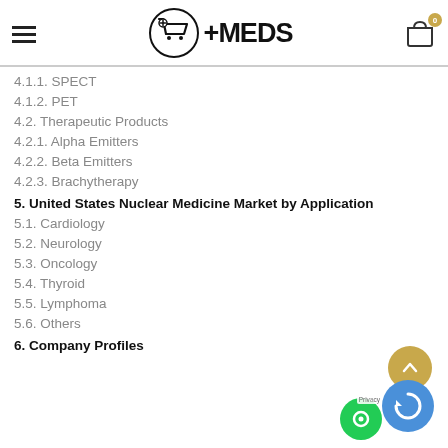≡MEDS (logo with cart icon, badge: 0)
4.1.1. SPECT
4.1.2. PET
4.2. Therapeutic Products
4.2.1. Alpha Emitters
4.2.2. Beta Emitters
4.2.3. Brachytherapy
5. United States Nuclear Medicine Market by Application
5.1. Cardiology
5.2. Neurology
5.3. Oncology
5.4. Thyroid
5.5. Lymphoma
5.6. Others
6. Company Profiles